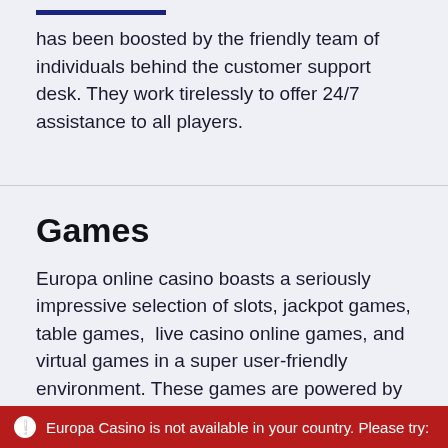has been boosted by the friendly team of individuals behind the customer support desk. They work tirelessly to offer 24/7 assistance to all players.
Games
Europa online casino boasts a seriously impressive selection of slots, jackpot games, table games,  live casino online games, and virtual games in a super user-friendly environment. These games are powered by some of the top and most reputable software providers in the market. Players can easily navigate the game lobby using the well-labeled links
Europa Casino is not available in your country. Please try: